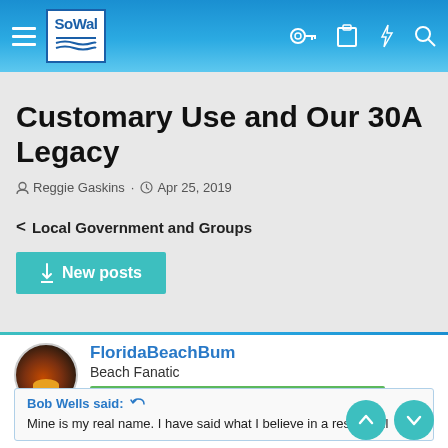SoWal — navigation bar with logo and icons
Customary Use and Our 30A Legacy
Reggie Gaskins · Apr 25, 2019
< Local Government and Groups
New posts
FloridaBeachBum
Beach Fanatic
Jun 5, 2019  #491
Bob Wells said: ↺
Mine is my real name. I have said what I believe in a respectful